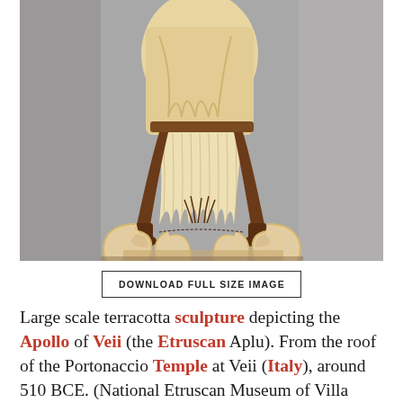[Figure (photo): Large terracotta sculpture of the Apollo of Veii, showing the lower body and torso with flowing drapery and decorative scrollwork base, in warm brown and cream tones against a gray background.]
DOWNLOAD FULL SIZE IMAGE
Large scale terracotta sculpture depicting the Apollo of Veii (the Etruscan Aplu). From the roof of the Portonaccio Temple at Veii (Italy), around 510 BCE. (National Etruscan Museum of Villa